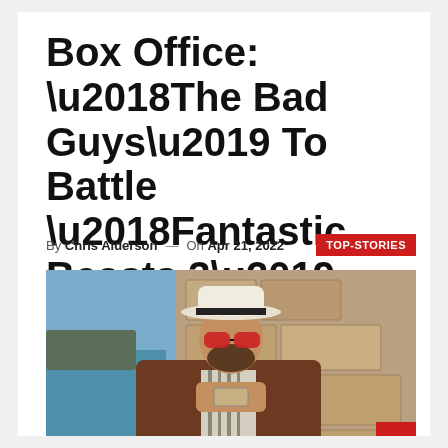Box Office: ‘The Bad Guys’ To Battle ‘Fantastic Beasts 3’
By Chris Alderson — On Apr 21, 2022
[Figure (photo): A man wearing a white fedora hat with a black band and red sunglasses, dressed in a brown jacket over a striped shirt, holds something up near his face. He is standing in front of large stone rocks with a blue sea and distant cliffside visible to the left.]